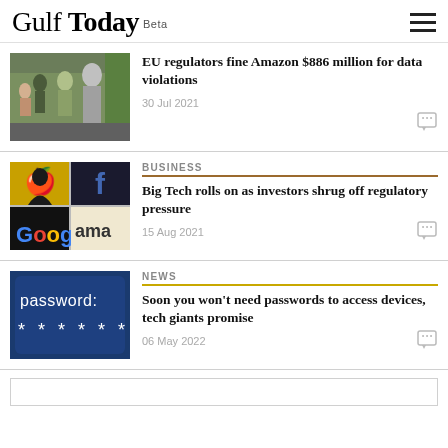Gulf Today Beta
[Figure (photo): People walking outdoors, street scene]
EU regulators fine Amazon $886 million for data violations
30 Jul 2021
BUSINESS
[Figure (photo): Collage of Big Tech logos: Apple, Facebook, Google, Amazon]
Big Tech rolls on as investors shrug off regulatory pressure
15 Aug 2021
NEWS
[Figure (photo): Password screen with asterisks on a blue device]
Soon you won't need passwords to access devices, tech giants promise
06 May 2022